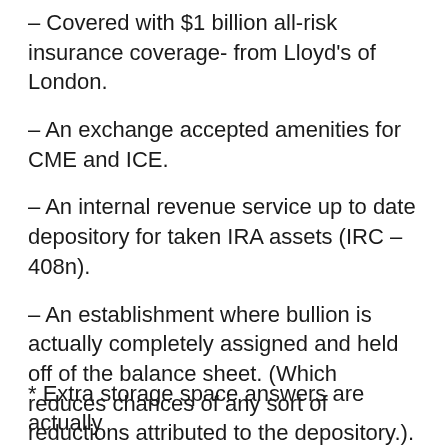– Covered with $1 billion all-risk insurance coverage- from Lloyd's of London.
– An exchange accepted amenities for CME and ICE.
– An internal revenue service up to date depository for taken IRA assets (IRC – 408n).
– An establishment where bullion is actually completely assigned and held off of the balance sheet. (Which reduces chances of any sort of reductions attributed to the depository.).
* Extra storage space answers are actually